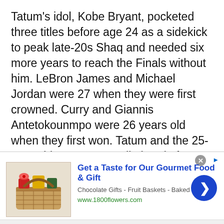Tatum's idol, Kobe Bryant, pocketed three titles before age 24 as a sidekick to peak late-20s Shaq and needed six more years to reach the Finals without him. LeBron James and Michael Jordan were 27 when they were first crowned. Curry and Giannis Antetokounmpo were 26 years old when they first won. Tatum and the 25-year-old Brown are well ahead of schedule, even when compared to recent all-time greats.
[Figure (infographic): Advertisement banner for 1800flowers.com featuring a gift basket image, heading 'Get a Taste for Our Gourmet Food & Gift', subtext 'Chocolate Gifts - Fruit Baskets - Baked Goods', URL 'www.1800flowers.com', a close button (X) and a blue circular arrow button.]